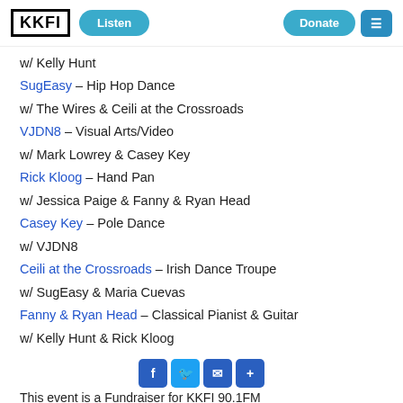KKFI | Listen | Donate
w/ Kelly Hunt
SugEasy – Hip Hop Dance
w/ The Wires & Ceili at the Crossroads
VJDN8 – Visual Arts/Video
w/ Mark Lowrey & Casey Key
Rick Kloog – Hand Pan
w/ Jessica Paige & Fanny & Ryan Head
Casey Key – Pole Dance
w/ VJDN8
Ceili at the Crossroads – Irish Dance Troupe
w/ SugEasy & Maria Cuevas
Fanny & Ryan Head – Classical Pianist & Guitar
w/ Kelly Hunt & Rick Kloog
This event is a Fundraiser for KKFI 90.1FM